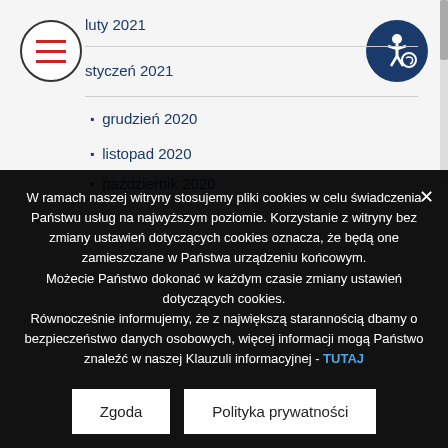luty 2021
styczeń 2021
grudzień 2020
listopad 2020
październik 2020
W ramach naszej witryny stosujemy pliki cookies w celu świadczenia Państwu usług na najwyższym poziomie. Korzystanie z witryny bez zmiany ustawień dotyczących cookies oznacza, że będą one zamieszczane w Państwa urządzeniu końcowym. Możecie Państwo dokonać w każdym czasie zmiany ustawień dotyczących cookies. Równocześnie informujemy, że z największą starannością dbamy o bezpieczeństwo danych osobowych, więcej informacji mogą Państwo znaleźć w naszej Klauzuli informacyjnej - TUTAJ
Zgoda
Polityka prywatności